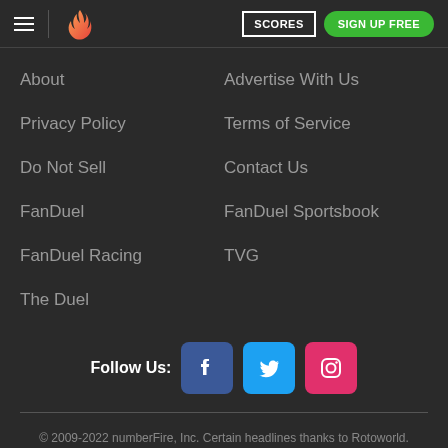SCORES | SIGN UP FREE
About
Advertise With Us
Privacy Policy
Terms of Service
Do Not Sell
Contact Us
FanDuel
FanDuel Sportsbook
FanDuel Racing
TVG
The Duel
[Figure (infographic): Follow Us row with Facebook, Twitter, and Instagram social media icons]
© 2009-2022 numberFire, Inc. Certain headlines thanks to Rotoworld. Weather info Powered by Dark Sky